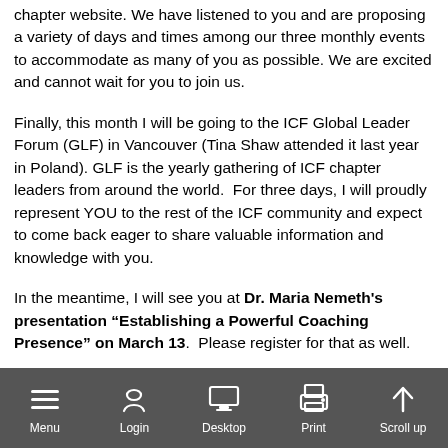chapter website. We have listened to you and are proposing a variety of days and times among our three monthly events to accommodate as many of you as possible. We are excited and cannot wait for you to join us.
Finally, this month I will be going to the ICF Global Leader Forum (GLF) in Vancouver (Tina Shaw attended it last year in Poland). GLF is the yearly gathering of ICF chapter leaders from around the world.  For three days, I will proudly represent YOU to the rest of the ICF community and expect to come back eager to share valuable information and knowledge with you.
In the meantime, I will see you at Dr. Maria Nemeth's presentation “Establishing a Powerful Coaching Presence” on March 13.  Please register for that as well.
On behalf of the entire Board, I wish you a lovely passage into springtime.
To your coaching success,